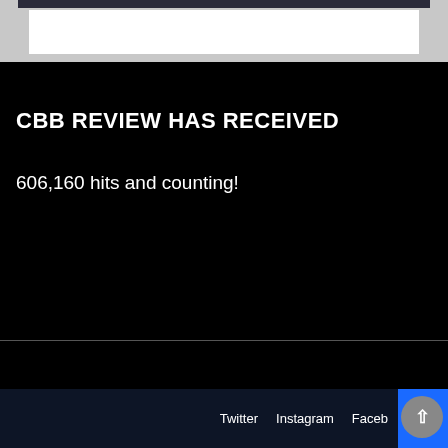[Figure (photo): Top portion of a photo/image, cropped, showing what appears to be people, on a white card/container against a grey background]
CBB REVIEW HAS RECEIVED
606,160 hits and counting!
Twitter  Instagram  Faceb...